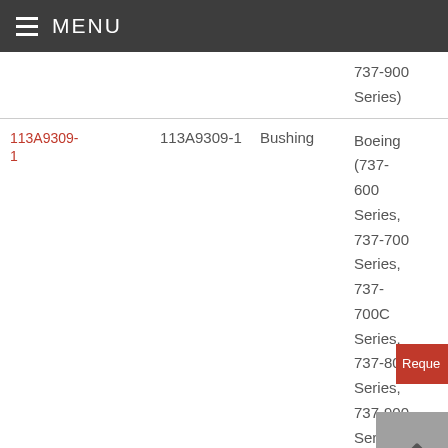≡ MENU
| ID | Part Number | Description | Aircraft |
| --- | --- | --- | --- |
|  |  |  | 737-900 Series) |
| 113A9309-1 | 113A9309-1 | Bushing | Boeing (737-600 Series, 737-700 Series, 737-700C Series, 737-800 Series, 737-900 Series) |